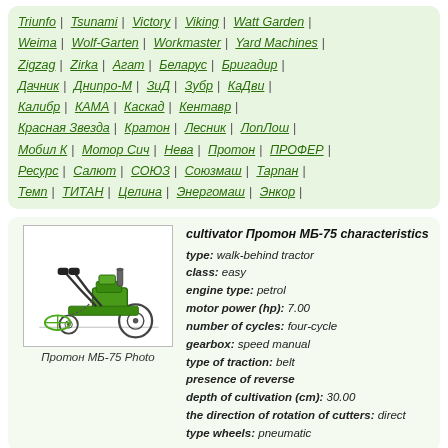Triunfo | Tsunami | Victory | Viking | Watt Garden | Weima | Wolf-Garten | Workmaster | Yard Machines | Zigzag | Zirka | Агат | Беларус | Бригадир | Дачник | Днипро-М | ЗиД | Зубр | КаДви | Калибр | КАМА | Каскад | Кентавр | Красная Звезда | Кратон | Лесник | ЛопЛош | Мобил К | Мотор Сич | Нева | Протон | ПРОФЕР | Ресурс | Салют | СОЮЗ | Союзмаш | Тарпан | Темп | ТИТАН | Целина | Энергомаш | Энкор |
[Figure (photo): Photo of Протон МБ-75 walk-behind tractor/cultivator, green colored, shown from the side]
Протон МБ-75 Photo
cultivator Протон МБ-75 characteristics
type: walk-behind tractor
class: easy
engine type: petrol
motor power (hp): 7.00
number of cycles: four-cycle
gearbox: speed manual
type of traction: belt
presence of reverse
depth of cultivation (cm): 30.00
the direction of rotation of cutters: direct
type wheels: pneumatic